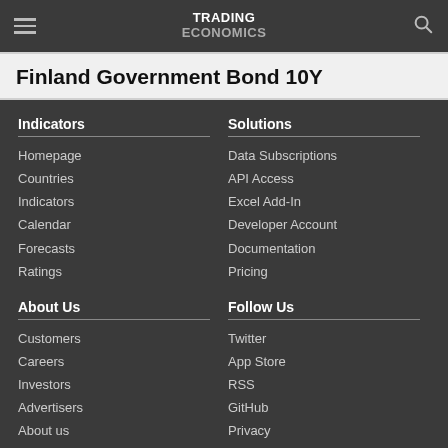TRADING ECONOMICS
Finland Government Bond 10Y
Indicators
Homepage
Countries
Indicators
Calendar
Forecasts
Ratings
Solutions
Data Subscriptions
API Access
Excel Add-In
Developer Account
Documentation
Pricing
About Us
Customers
Careers
Investors
Advertisers
About us
Follow Us
Twitter
App Store
RSS
GitHub
Privacy
Copyright ©2022 TRADING ECONOMICS